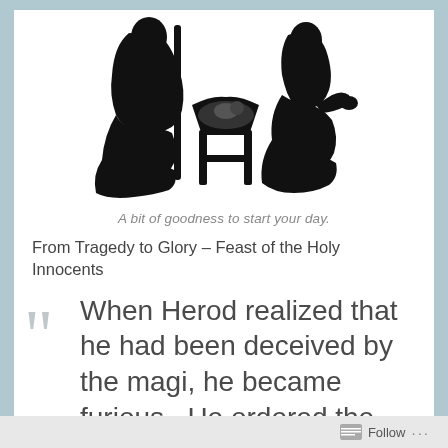[Figure (illustration): Black silhouette of a nativity scene showing Joseph kneeling with a staff on the left, Mary kneeling on the right, and a baby Jesus in a manger in the center, all on white background]
A bit of goodness to start your day.
From Tragedy to Glory – Feast of the Holy Innocents
When Herod realized that he had been deceived by the magi, he became furious.  He ordered the massacre of all
Follow ...